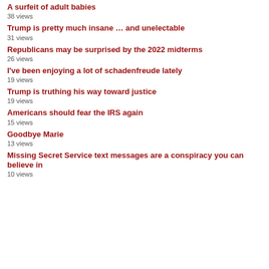A surfeit of adult babies
38 views
Trump is pretty much insane … and unelectable
31 views
Republicans may be surprised by the 2022 midterms
26 views
I've been enjoying a lot of schadenfreude lately
19 views
Trump is truthing his way toward justice
19 views
Americans should fear the IRS again
15 views
Goodbye Marie
13 views
Missing Secret Service text messages are a conspiracy you can believe in
10 views